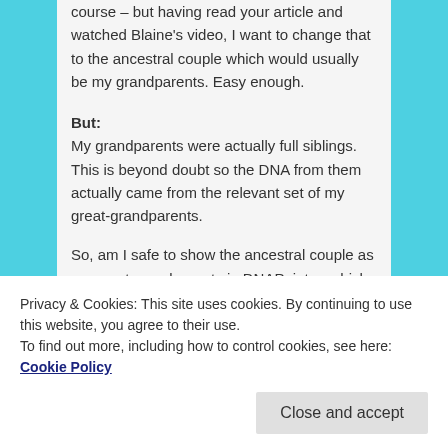course – but having read your article and watched Blaine's video, I want to change that to the ancestral couple which would usually be my grandparents. Easy enough.
But:
My grandparents were actually full siblings. This is beyond doubt so the DNA from them actually came from the relevant set of my great-grandparents.
So, am I safe to show the ancestral couple as my great-grandparents in DNAPainter, which would be the case with a couple of 2C matches in the
Privacy & Cookies: This site uses cookies. By continuing to use this website, you agree to their use.
To find out more, including how to control cookies, see here: Cookie Policy
Close and accept